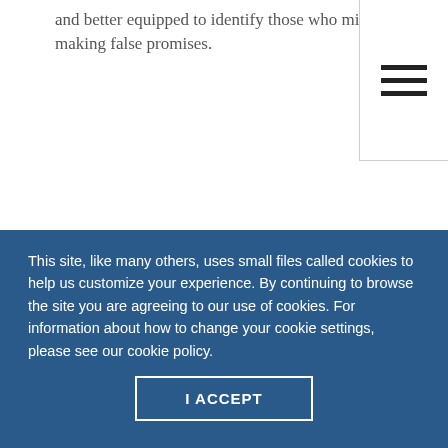and better equipped to identify those who might be making false promises.
****
If y o u'
[Figure (photo): Grayscale image of multiple question mark symbols in circles, various sizes, on a gray background.]
This site, like many others, uses small files called cookies to help us customize your experience. By continuing to browse the site you are agreeing to our use of cookies. For information about how to change your cookie settings, please see our cookie policy.
I ACCEPT